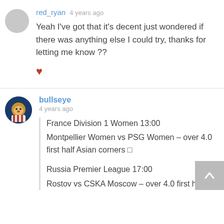red_ryan  4 years ago
Yeah I've got that it's decent just wondered if there was anything else I could try, thanks for letting me know ??
❤
bullseye
4 years ago
France Division 1 Women 13:00
Montpellier Women vs PSG Women – over 4.0 first half Asian corners 🔲

Russia Premier League 17:00
Rostov vs CSKA Moscow – over 4.0 first half